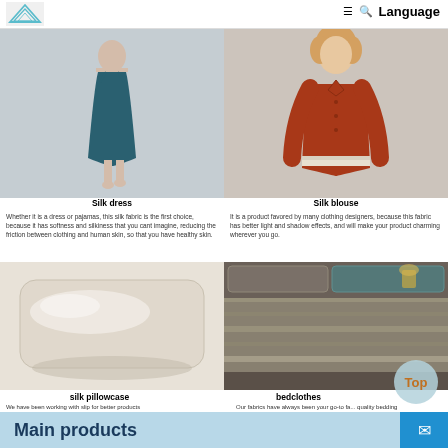Language
[Figure (photo): Woman wearing a teal silk dress on grey background]
[Figure (photo): Woman wearing an orange/rust silk blouse]
Silk dress
Silk blouse
Whether it is a dress or pajamas, this silk fabric is the first choice, because it has softness and silkiness that you cant imagine, reducing the friction between clothing and human skin, so that you have healthy skin.
It is a product favored by many clothing designers, because this fabric has better light and shadow effects, and will make your product charming wherever you go.
[Figure (photo): White/silver silk pillowcase on white background]
[Figure (photo): Luxurious grey/silver silk bedclothes on a bed]
silk pillowcase
bedclothes
We have been working with slip for better products
Our fabrics have always been your go-to fa... quality bedding
Main products